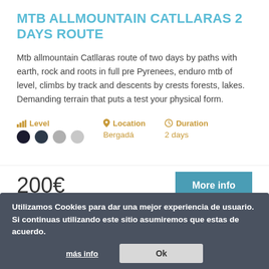MTB ALLMOUNTAIN CATLLARAS 2 DAYS ROUTE
Mtb allmountain Catllaras route of two days by paths with earth, rock and roots in full pre Pyrenees, enduro mtb of level, climbs by track and descents by crests forests, lakes. Demanding terrain that puts a test your physical form.
Level (2 of 4 dots filled) | Location: Bergadá | Duration: 2 days
200€
More info
Utilizamos Cookies para dar una mejor experiencia de usuario. Si continuas utilizando este sitio asumiremos que estas de acuerdo. más info | Ok